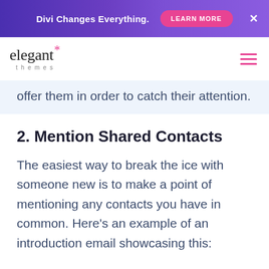[Figure (screenshot): Top banner ad: purple gradient background with text 'Divi Changes Everything.' and a pink 'LEARN MORE' button and a white X close button]
[Figure (logo): Elegant Themes logo with asterisk star in pink and 'themes' subtitle, plus hamburger menu icon in pink on the right]
offer them in order to catch their attention.
2. Mention Shared Contacts
The easiest way to break the ice with someone new is to make a point of mentioning any contacts you have in common. Here's an example of an introduction email showcasing this: